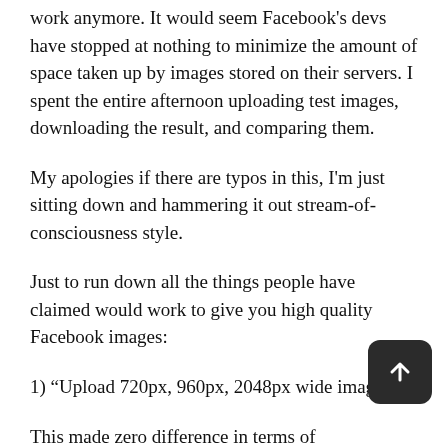work anymore. It would seem Facebook's devs have stopped at nothing to minimize the amount of space taken up by images stored on their servers. I spent the entire afternoon uploading test images, downloading the result, and comparing them.
My apologies if there are typos in this, I'm just sitting down and hammering it out stream-of-consciousness style.
Just to run down all the things people have claimed would work to give you high quality Facebook images:
1) “Upload 720px, 960px, 2048px wide images”
This made zero difference in terms of